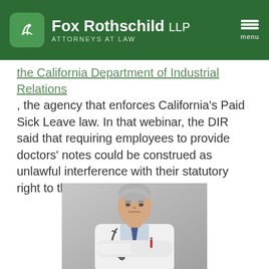Fox Rothschild LLP — Attorneys at Law
the California Department of Industrial Relations, the agency that enforces California's Paid Sick Leave law. In that webinar, the DIR said that requiring employees to provide doctors' notes could be construed as unlawful interference with their statutory right to the leave.
[Figure (photo): Photo of a middle-aged male doctor in a white lab coat and blue tie with arms crossed, wearing a stethoscope around his neck, against a grey gradient background.]